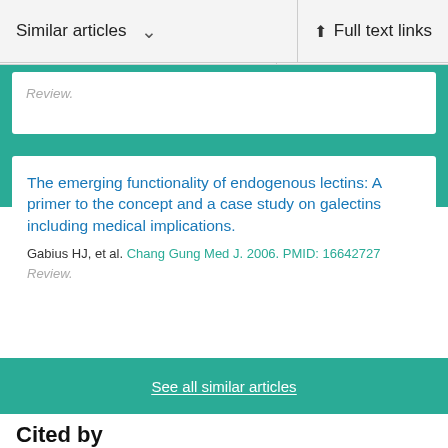Similar articles   Full text links
Review.
The emerging functionality of endogenous lectins: A primer to the concept and a case study on galectins including medical implications.
Gabius HJ, et al. Chang Gung Med J. 2006. PMID: 16642727
Review.
See all similar articles
Cited by
Genome-Wide Identification of JRL Genes in Moso Bamboo and Their Expression Profiles in